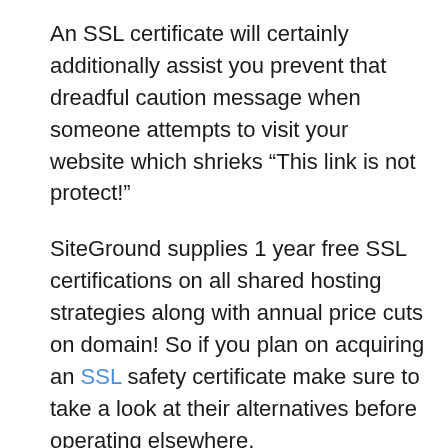An SSL certificate will certainly additionally assist you prevent that dreadful caution message when someone attempts to visit your website which shrieks “This link is not protect!”
SiteGround supplies 1 year free SSL certifications on all shared hosting strategies along with annual price cuts on domain! So if you plan on acquiring an SSL safety certificate make sure to take a look at their alternatives before operating elsewhere.
It includes a complimentary content shipment network where we can publish big data and also images, so it is not feasible for any kind of 3rd party to intercept this info.